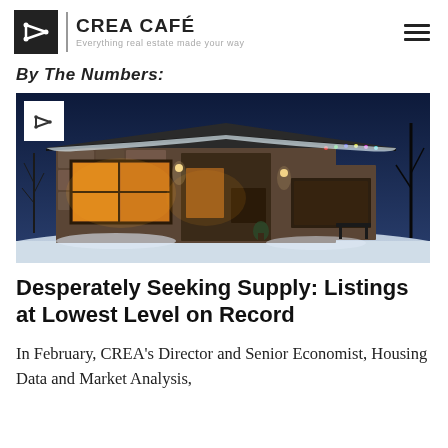CREA CAFÉ | Everything real estate made your way
By The Numbers:
[Figure (photo): Exterior nighttime photo of a modern stone and wood house covered in snow, warmly lit from inside with Christmas lights visible on the roofline.]
Desperately Seeking Supply: Listings at Lowest Level on Record
In February, CREA's Director and Senior Economist, Housing Data and Market Analysis,